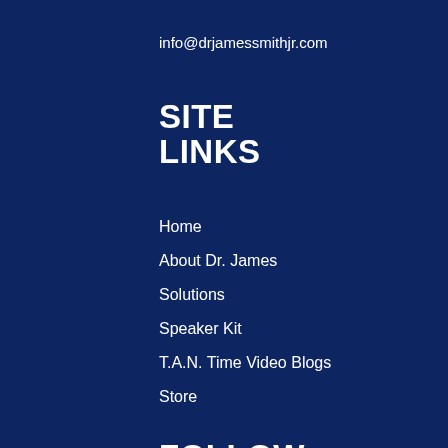info@drjamessmithjr.com
SITE LINKS
Home
About Dr. James
Solutions
Speaker Kit
T.A.N. Time Video Blogs
Store
FOLLOW US
Facebook
Twitter
LinkedIn
YouTube